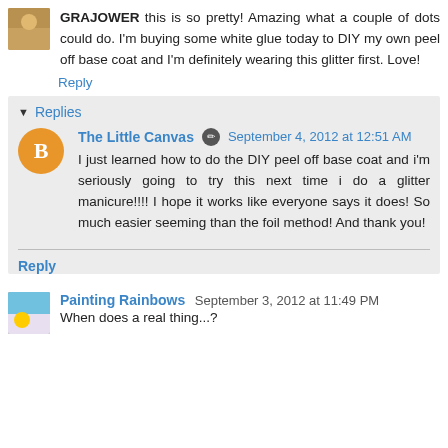GRAJOWER this is so pretty! Amazing what a couple of dots could do. I'm buying some white glue today to DIY my own peel off base coat and I'm definitely wearing this glitter first. Love!
Reply
Replies
The Little Canvas  September 4, 2012 at 12:51 AM
I just learned how to do the DIY peel off base coat and i'm seriously going to try this next time i do a glitter manicure!!!! I hope it works like everyone says it does! So much easier seeming than the foil method! And thank you!
Reply
Painting Rainbows  September 3, 2012 at 11:49 PM